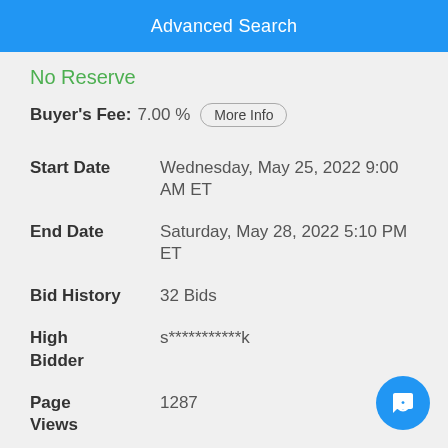Advanced Search
No Reserve
Buyer's Fee: 7.00 % More Info
Start Date: Wednesday, May 25, 2022 9:00 AM ET
End Date: Saturday, May 28, 2022 5:10 PM ET
Bid History: 32 Bids
High Bidder: s***********k
Page Views: 1287